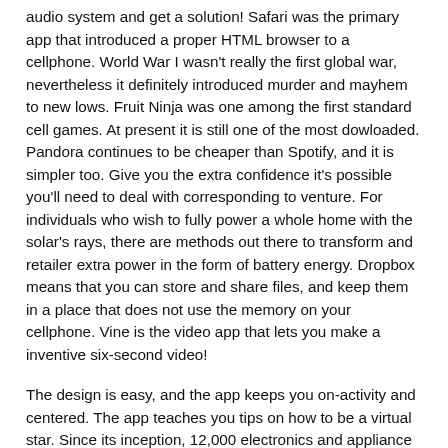audio system and get a solution! Safari was the primary app that introduced a proper HTML browser to a cellphone. World War I wasn't really the first global war, nevertheless it definitely introduced murder and mayhem to new lows. Fruit Ninja was one among the first standard cell games. At present it is still one of the most dowloaded. Pandora continues to be cheaper than Spotify, and it is simpler too. Give you the extra confidence it's possible you'll need to deal with corresponding to venture. For individuals who wish to fully power a whole home with the solar's rays, there are methods out there to transform and retailer extra power in the form of battery energy. Dropbox means that you can store and share files, and keep them in a place that does not use the memory on your cellphone. Vine is the video app that lets you make a inventive six-second video!
The design is easy, and the app keeps you on-activity and centered. The app teaches you tips on how to be a virtual star. Since its inception, 12,000 electronics and appliance manufacturers have voluntarily complied with more and more strict Vitality Star standards. Star Walk is for neophyte astronomers who seriously want to know what is going on within the sky. On this quiz, we're going to test your information. May have prime tier bonus values in all three classes. Three letters immediately enter your thoughts: U-F-O. Sport of Struggle is an imitator. How lengthy does it take a few thousand networked computer systems to simulate the Milky